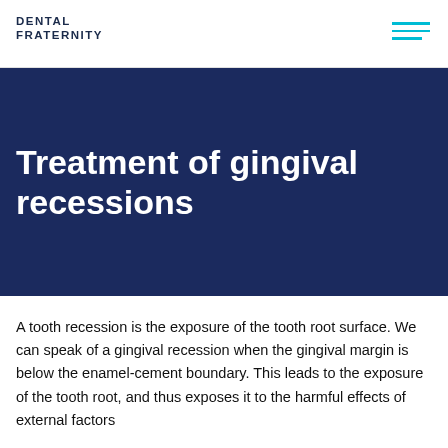DENTAL FRATERNITY
Treatment of gingival recessions
A tooth recession is the exposure of the tooth root surface. We can speak of a gingival recession when the gingival margin is below the enamel-cement boundary. This leads to the exposure of the tooth root, and thus exposes it to the harmful effects of external factors